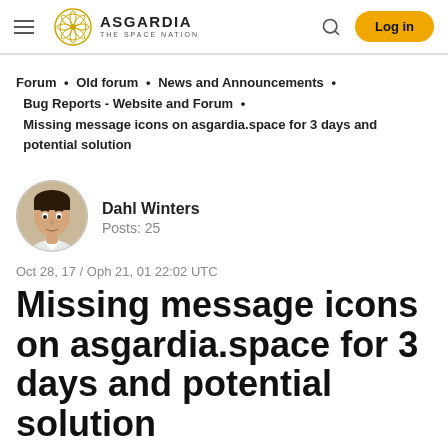ASGARDIA THE SPACE NATION — Log in
Forum • Old forum • News and Announcements • Bug Reports - Website and Forum • Missing message icons on asgardia.space for 3 days and potential solution
[Figure (photo): Avatar photo of Dahl Winters, a young man]
Dahl Winters
Posts: 25
Oct 28, 17 / Oph 21, 01 22:02 UTC
Missing message icons on asgardia.space for 3 days and potential solution